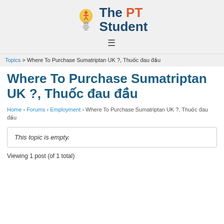[Figure (logo): The PT Student logo with lightbulb icon, 'The PT' in dark blue and orange, 'Student' in dark blue]
≡
Topics > Where To Purchase Sumatriptan UK ?, Thuốc đau đầu
Where To Purchase Sumatriptan UK ?, Thuốc đau đầu
Home › Forums › Employment › Where To Purchase Sumatriptan UK ?, Thuốc đau đầu
This topic is empty.
Viewing 1 post (of 1 total)